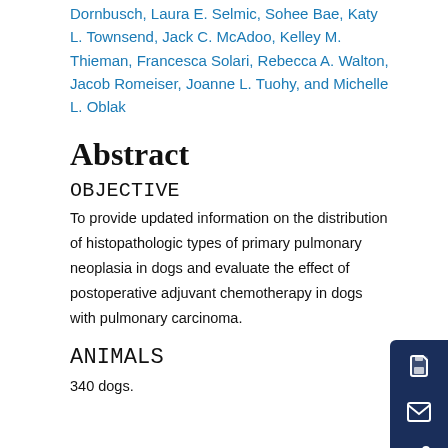Dornbusch, Laura E. Selmic, Sohee Bae, Katy L. Townsend, Jack C. McAdoo, Kelley M. Thieman, Francesca Solari, Rebecca A. Walton, Jacob Romeiser, Joanne L. Tuohy, and Michelle L. Oblak
Abstract
OBJECTIVE
To provide updated information on the distribution of histopathologic types of primary pulmonary neoplasia in dogs and evaluate the effect of postoperative adjuvant chemotherapy in dogs with pulmonary carcinoma.
ANIMALS
340 dogs.